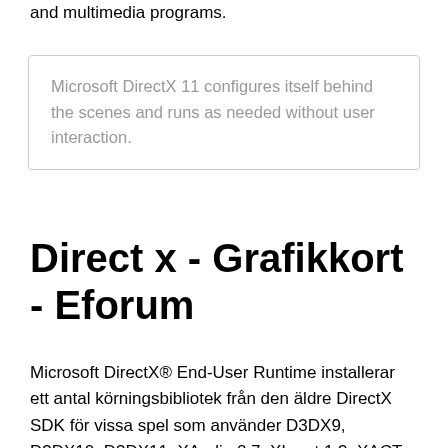and multimedia programs.
Microsoft DirectX 11 configures itself behind the scenes and runs as needed without user interaction.
Direct x - Grafikkort - Eforum
Microsoft DirectX® End-User Runtime installerar ett antal körningsbibliotek från den äldre DirectX SDK för vissa spel som använder D3DX9, D3DX10, D3DX11, XAudio 2.7, XInput 1.3, XACT och/eller Managed DirectX 1.1. Observera att detta paket